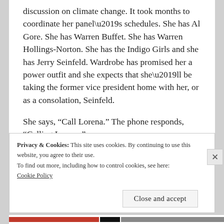discussion on climate change. It took months to coordinate her panel’s schedules. She has Al Gore. She has Warren Buffet. She has Warren Hollings-Norton. She has the Indigo Girls and she has Jerry Seinfeld. Wardrobe has promised her a power outfit and she expects that she’ll be taking the former vice president home with her, or as a consolation, Seinfeld.
She says, “Call Lorena.” The phone responds, “Calling Lorena.”
Privacy & Cookies: This site uses cookies. By continuing to use this website, you agree to their use.
To find out more, including how to control cookies, see here:
Cookie Policy
Close and accept